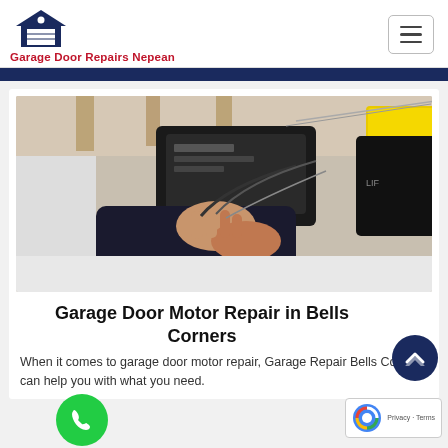Garage Door Repairs Nepean
[Figure (photo): A technician's hands working on a garage door motor/opener unit, with wiring visible. A LiftMaster or similar garage door opener is visible on the right side. The garage interior shows rafters and a ladder in the background.]
Garage Door Motor Repair in Bells Corners
When it comes to garage door motor repair, Garage Repair Bells Corners can help you with what you need.